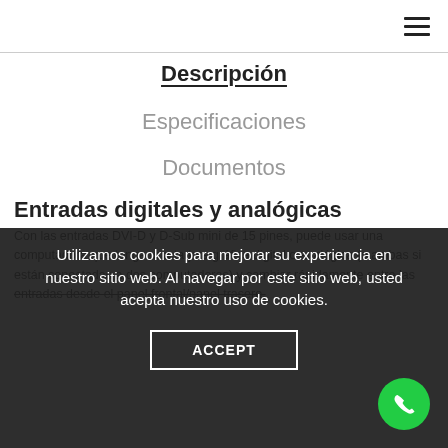☰
Descripción
Especificaciones
Documentos
Entradas digitales y analógicas
Con las entradas DVI-D y D-Sub mini de 15 pines, puede usar una computadora que tenga una tarjeta gráfica digital o analógica (o ambas si están conectadas a dos computadoras) y cambiar rápidamente entre las entradas desde el panel frontal/panel trasero.
Utilizamos cookies para mejorar su experiencia en nuestro sitio web. Al navegar por este sitio web, usted acepta nuestro uso de cookies.